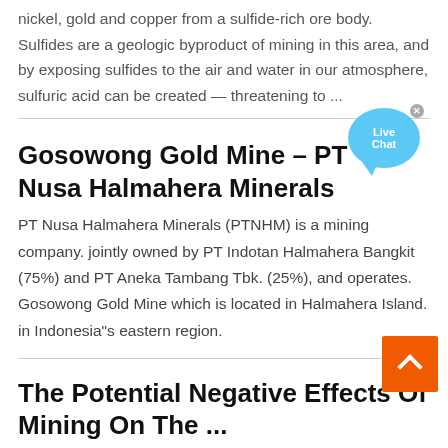nickel, gold and copper from a sulfide-rich ore body. Sulfides are a geologic byproduct of mining in this area, and by exposing sulfides to the air and water in our atmosphere, sulfuric acid can be created — threatening to ...
Gosowong Gold Mine – PT Nusa Halmahera Minerals
[Figure (illustration): Live Chat bubble icon with close button]
PT Nusa Halmahera Minerals (PTNHM) is a mining company. jointly owned by PT Indotan Halmahera Bangkit (75%) and PT Aneka Tambang Tbk. (25%), and operates. Gosowong Gold Mine which is located in Halmahera Island. in Indonesia"s eastern region.
[Figure (illustration): Orange scroll-to-top button with upward arrow]
The Potential Negative Effects Of Mining On The ...